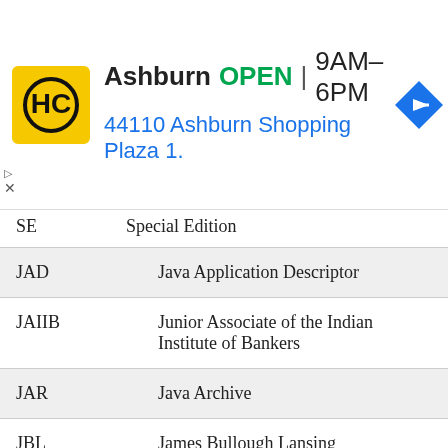[Figure (screenshot): Advertisement banner for Haircut place in Ashburn, showing logo, OPEN status, hours 9AM-6PM, address 44110 Ashburn Shopping Plaza 1., and navigation arrow icon]
| Abbreviation | Definition |
| --- | --- |
| SE | Special Edition |
| JAD | Java Application Descriptor |
| JAIIB | Junior Associate of the Indian Institute of Bankers |
| JAR | Java Archive |
| JBL | James Bullough Lansing |
| JCB | Joseph Cyril Bamford |
| JEE | Joint Entrance Examination |
| JFY | Just For You |